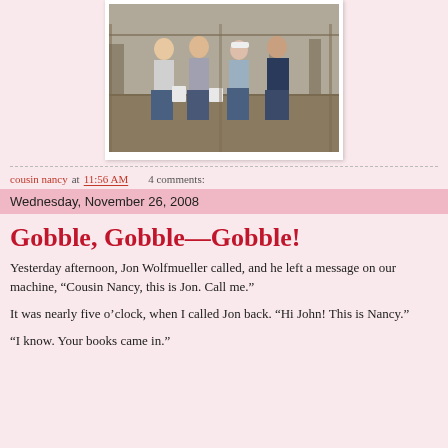[Figure (photo): Four people standing outdoors near a fence, some holding white buckets. Bare trees in background.]
cousin nancy at 11:56 AM    4 comments:
Wednesday, November 26, 2008
Gobble, Gobble—Gobble!
Yesterday afternoon, Jon Wolfmueller called, and he left a message on our machine, “Cousin Nancy, this is Jon. Call me.”
It was nearly five o’clock, when I called Jon back. “Hi John! This is Nancy.”
“I know. Your books came in.”